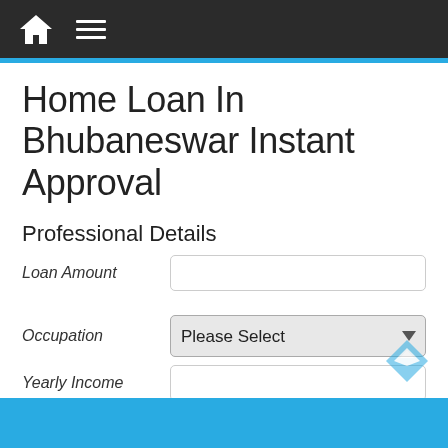Navigation bar with home and menu icons
Home Loan In Bhubaneswar Instant Approval
Professional Details
Loan Amount [input field]
Occupation [Please Select dropdown]
Yearly Income [input field]
City [Select your City dropdown]